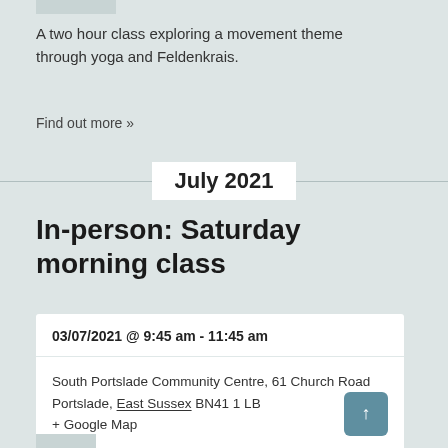A two hour class exploring a movement theme through yoga and Feldenkrais.
Find out more »
July 2021
In-person: Saturday morning class
03/07/2021 @ 9:45 am - 11:45 am
South Portslade Community Centre, 61 Church Road Portslade, East Sussex BN41 1 LB
+ Google Map